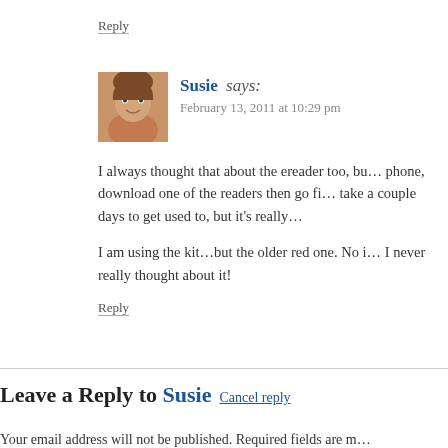Reply
Susie says: February 13, 2011 at 10:29 pm
I always thought that about the ereader too, bu… phone, download one of the readers then go fi… take a couple days to get used to, but it's really…
I am using the kit…but the older red one. No i… I never really thought about it!
Reply
Leave a Reply to Susie Cancel reply
Your email address will not be published. Required fields are m…